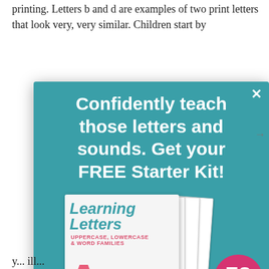printing. Letters b and d are examples of two print letters that look very, very similar. Children start by
[Figure (infographic): Modal popup over article content. Teal/green background with white text heading: 'Confidently teach those letters and sounds. Get your FREE Starter Kit!' Below is an image of a workbook titled 'Learning Letters: Uppercase, Lowercase & Word Families' with stacked worksheet pages behind it and a pink badge reading '78 PAGES'. A close (X) button is in the top right corner.]
y... ill...